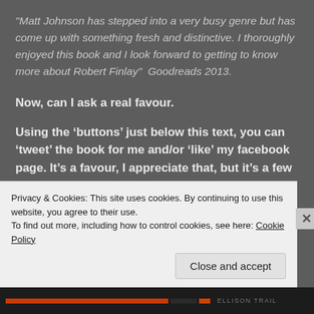"Matt Johnson has stepped into a very busy genre but has come up with something fresh and distinctive. I thoroughly enjoyed this book and I look forward to getting to know more about Robert Finlay"  Goodreads 2013.
Now, can I ask a real favour.
Using the ‘buttons’ just below this text, you can ‘tweet’ the book for me and/or ‘like’ my facebook page. It’s a favour, I appreciate that, but it’s a few seconds of your time that help me to gauge how well
Privacy & Cookies: This site uses cookies. By continuing to use this website, you agree to their use.
To find out more, including how to control cookies, see here: Cookie Policy
Close and accept